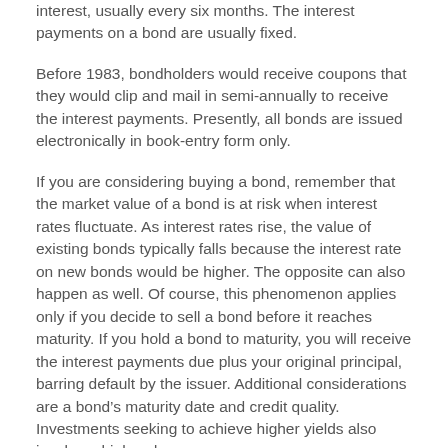interest, usually every six months. The interest payments on a bond are usually fixed.
Before 1983, bondholders would receive coupons that they would clip and mail in semi-annually to receive the interest payments. Presently, all bonds are issued electronically in book-entry form only.
If you are considering buying a bond, remember that the market value of a bond is at risk when interest rates fluctuate. As interest rates rise, the value of existing bonds typically falls because the interest rate on new bonds would be higher. The opposite can also happen as well. Of course, this phenomenon applies only if you decide to sell a bond before it reaches maturity. If you hold a bond to maturity, you will receive the interest payments due plus your original principal, barring default by the issuer. Additional considerations are a bond’s maturity date and credit quality. Investments seeking to achieve higher yields also involve a higher degree